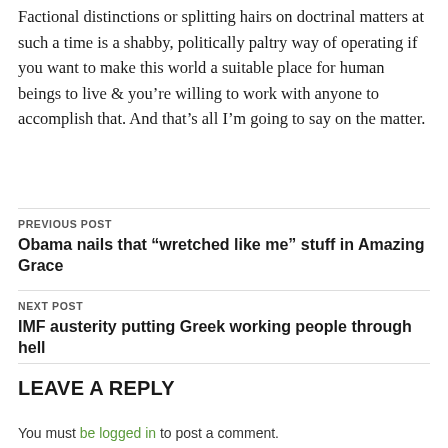Factional distinctions or splitting hairs on doctrinal matters at such a time is a shabby, politically paltry way of operating if you want to make this world a suitable place for human beings to live & you’re willing to work with anyone to accomplish that. And that’s all I’m going to say on the matter.
PREVIOUS POST
Obama nails that “wretched like me” stuff in Amazing Grace
NEXT POST
IMF austerity putting Greek working people through hell
LEAVE A REPLY
You must be logged in to post a comment.